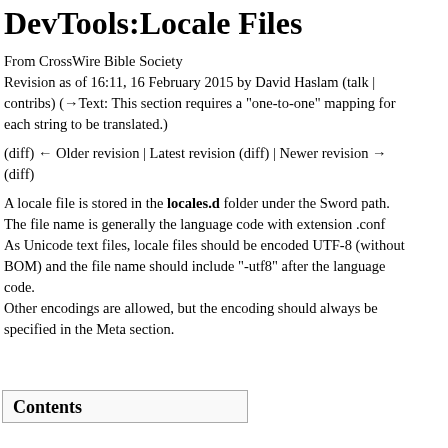DevTools:Locale Files
From CrossWire Bible Society
Revision as of 16:11, 16 February 2015 by David Haslam (talk | contribs) (→Text: This section requires a "one-to-one" mapping for each string to be translated.)
(diff) ← Older revision | Latest revision (diff) | Newer revision → (diff)
A locale file is stored in the locales.d folder under the Sword path. The file name is generally the language code with extension .conf As Unicode text files, locale files should be encoded UTF-8 (without BOM) and the file name should include "-utf8" after the language code.
Other encodings are allowed, but the encoding should always be specified in the Meta section.
Contents